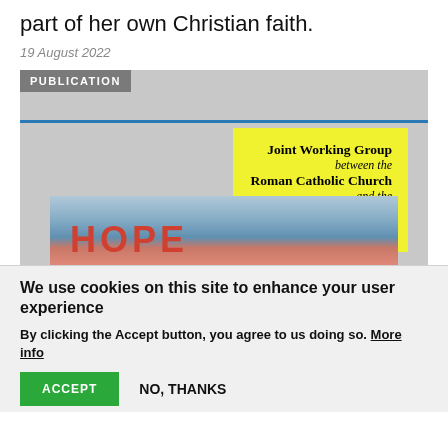part of her own Christian faith.
19 August 2022
[Figure (photo): Publication card showing a yellow box with text 'Joint Working Group between the Roman Catholic Church and the World Council of Churches' over a grey background with a blue line, and a photo strip at the bottom showing the word HOPE in red letters on a blue background]
We use cookies on this site to enhance your user experience
By clicking the Accept button, you agree to us doing so. More info
ACCEPT
NO, THANKS